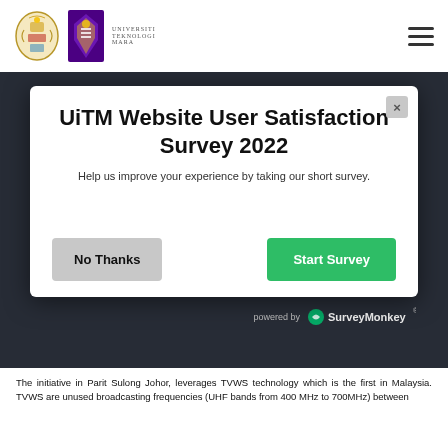[Figure (logo): Malaysian government crest and Universiti Teknologi MARA (UiTM) logo with text]
[Figure (screenshot): UiTM website user satisfaction survey modal popup with title, subtitle, No Thanks and Start Survey buttons, powered by SurveyMonkey]
The initiative in Parit Sulong Johor, leverages TVWS technology which is the first in Malaysia. TVWS are unused broadcasting frequencies (UHF bands from 400 MHz to 700MHz) between